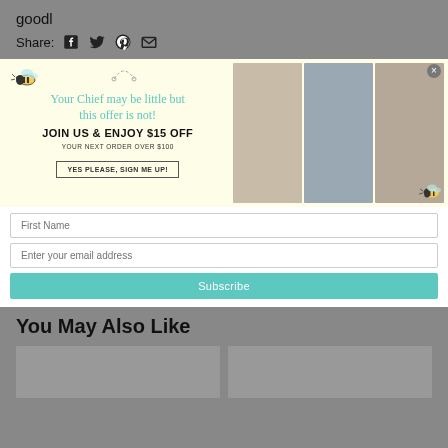goodl
Share:
[Figure (screenshot): Promotional popup banner with light yellow background. Left side shows cursive text 'Your Chief may be little but this offer is not!' followed by bold text 'JOIN US & ENJOY $15 OFF' and 'YOUR NEXT ORDER OVER $100', with a button 'YES PLEASE, SIGN ME UP!'. Bee illustrations in corners and dotted line decoration at top. Right side shows three baby clothing photos.]
First Name
Enter your email address
Subscribe
You May Also Like